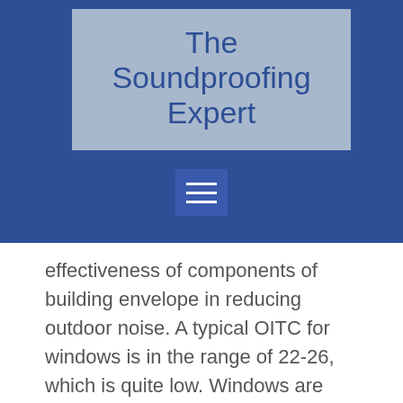The Soundproofing Expert
[Figure (other): Hamburger menu button icon with three white horizontal lines on a blue square background]
effectiveness of components of building envelope in reducing outdoor noise. A typical OITC for windows is in the range of 22-26, which is quite low. Windows are typically the acoustically weakest part of a building envelope.
In addition to OITC ratings (or instead) some window